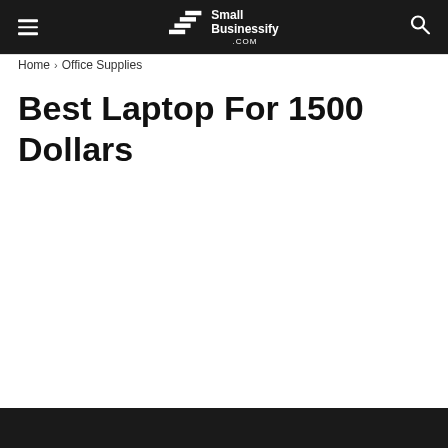SmallBusinessify.com
Home › Office Supplies
Best Laptop For 1500 Dollars